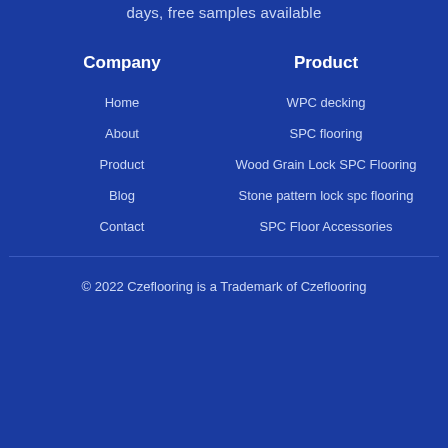days, free samples available
Company
Product
Home
WPC decking
About
SPC flooring
Product
Wood Grain Lock SPC Flooring
Blog
Stone pattern lock spc flooring
Contact
SPC Floor Accessories
© 2022 Czeflooring is a Trademark of Czeflooring